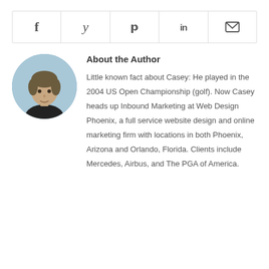[Figure (other): Social share bar with icons for Facebook, Twitter, Pinterest, LinkedIn, and Email]
About the Author
[Figure (photo): Circular headshot photo of a man (Casey)]
Little known fact about Casey: He played in the 2004 US Open Championship (golf). Now Casey heads up Inbound Marketing at Web Design Phoenix, a full service website design and online marketing firm with locations in both Phoenix, Arizona and Orlando, Florida. Clients include Mercedes, Airbus, and The PGA of America.